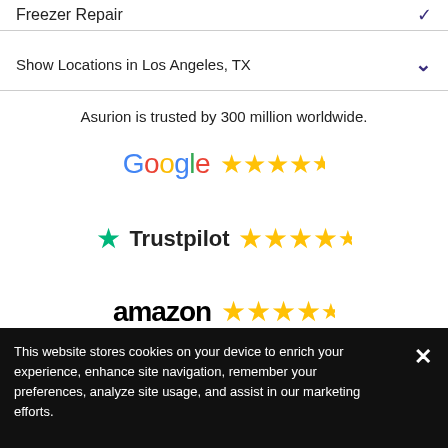Freezer Repair
Show Locations in Los Angeles, TX
Asurion is trusted by 300 million worldwide.
[Figure (logo): Google logo with 4.5 gold stars rating]
[Figure (logo): Trustpilot logo with green star and 4.5 gold stars rating]
[Figure (logo): Amazon logo in bold black with 4.5 gold stars rating]
This website stores cookies on your device to enrich your experience, enhance site navigation, remember your preferences, analyze site usage, and assist in our marketing efforts.